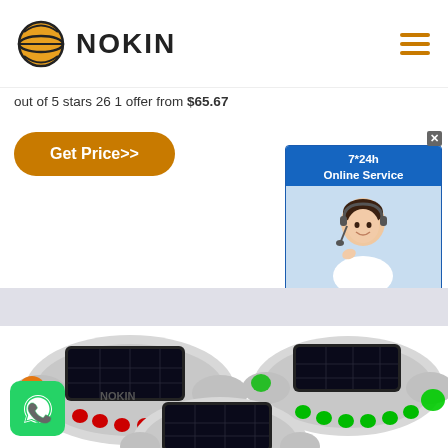[Figure (logo): NOKIN brand logo with orange globe/planet icon and bold NOKIN text]
out of 5 stars 26 1 offer from $65.67
[Figure (other): Get Price>> orange rounded button]
[Figure (other): 7*24h Online Service chat widget with woman wearing headset and Chat Now! button]
[Figure (photo): Three NOKIN solar road stud/marker products: one with red LEDs (left), one with green LEDs (right), one at bottom center. Each is a silver aluminum housing with solar panel on top.]